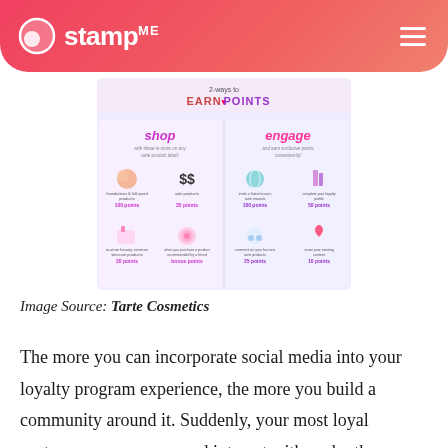stamp ME
[Figure (infographic): 2-ways to EARN POINTS infographic for Tarte Cosmetics loyalty program. Left side: 'shop' with icons for foundations & full-sized products (100 points), sale products (35 points), in-store beauty services (20 points), when you purchase a product recommended by a friend (bonus points). Right side: 'engage' with icons for invite a friend to earn Tarte rewards (100 points), complete your loyalty profile (50 points), comment on your fav new tarte product (25 points), score your existing content (10 points).]
Image Source: Tarte Cosmetics
The more you can incorporate social media into your loyalty program experience, the more you build a community around it. Suddenly, your most loyal customers can engage and interact with each other